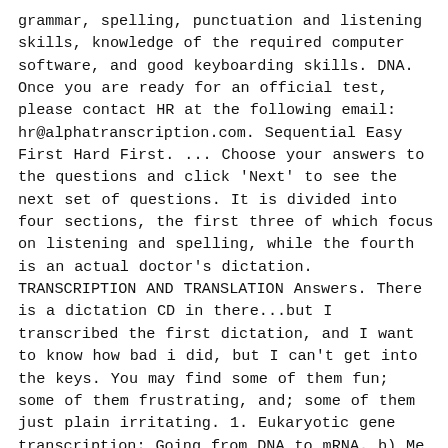grammar, spelling, punctuation and listening skills, knowledge of the required computer software, and good keyboarding skills. DNA. Once you are ready for an official test, please contact HR at the following email: hr@alphatranscription.com. Sequential Easy First Hard First. ... Choose your answers to the questions and click 'Next' to see the next set of questions. It is divided into four sections, the first three of which focus on listening and spelling, while the fourth is an actual doctor's dictation. TRANSCRIPTION AND TRANSLATION Answers. There is a dictation CD in there...but I transcribed the first dictation, and I want to know how bad i did, but I can't get into the keys. You may find some of them fun; some of them frustrating, and; some of them just plain irritating. 1. Eukaryotic gene transcription: Going from DNA to mRNA. b) Me and Joe are